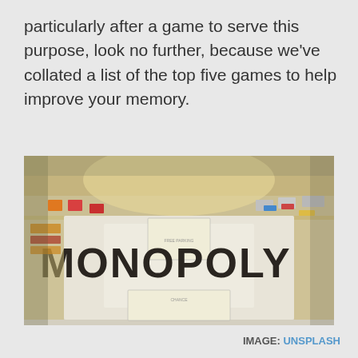particularly after a game to serve this purpose, look no further, because we've collated a list of the top five games to help improve your memory.
[Figure (photo): Close-up photo of a Monopoly board game, showing the MONOPOLY logo in large bold letters, with game board squares visible around the edges including colored property spaces.]
IMAGE: UNSPLASH